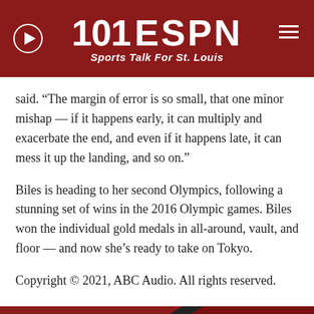101 ESPN — Sports Talk For St. Louis
said. “The margin of error is so small, that one minor mishap — if it happens early, it can multiply and exacerbate the end, and even if it happens late, it can mess it up the landing, and so on.”
Biles is heading to her second Olympics, following a stunning set of wins in the 2016 Olympic games. Biles won the individual gold medals in all-around, vault, and floor — and now she’s ready to take on Tokyo.
Copyright © 2021, ABC Audio. All rights reserved.
RELATED